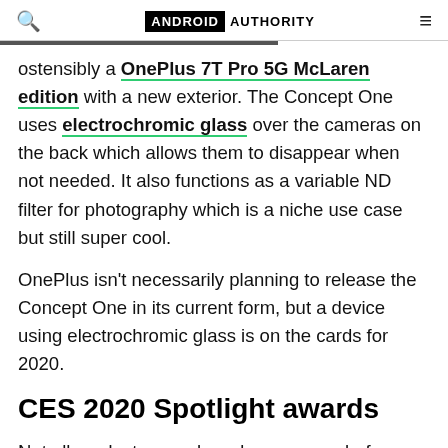ANDROID AUTHORITY
ostensibly a OnePlus 7T Pro 5G McLaren edition with a new exterior. The Concept One uses electrochromic glass over the cameras on the back which allows them to disappear when not needed. It also functions as a variable ND filter for photography which is a niche use case but still super cool.
OnePlus isn't necessarily planning to release the Concept One in its current form, but a device using electrochromic glass is on the cards for 2020.
CES 2020 Spotlight awards
Not all products were brand new, never-before-seen or comprised groundbreaking new tech. Some